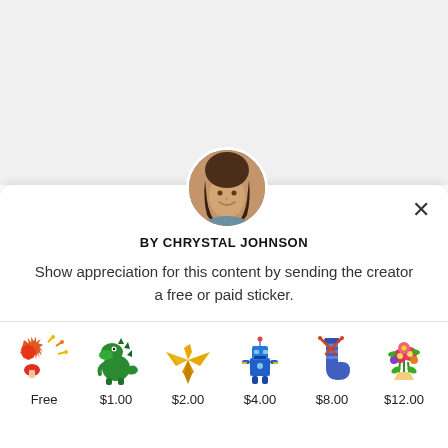[Figure (photo): Profile photo of Chrystal Johnson in a circular frame]
BY CHRYSTAL JOHNSON
Show appreciation for this content by sending the creator a free or paid sticker.
[Figure (illustration): Six sticker options with prices: Free (star/fireworks sticker), $1.00 (green dinosaur), $2.00 (gold origami crane), $4.00 (blue robot), $8.00 (blue striped sock), $12.00 (flower bouquet)]